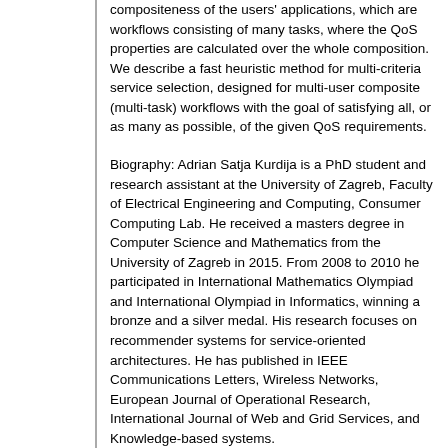compositeness of the users' applications, which are workflows consisting of many tasks, where the QoS properties are calculated over the whole composition. We describe a fast heuristic method for multi-criteria service selection, designed for multi-user composite (multi-task) workflows with the goal of satisfying all, or as many as possible, of the given QoS requirements.
Biography: Adrian Satja Kurdija is a PhD student and research assistant at the University of Zagreb, Faculty of Electrical Engineering and Computing, Consumer Computing Lab. He received a masters degree in Computer Science and Mathematics from the University of Zagreb in 2015. From 2008 to 2010 he participated in International Mathematics Olympiad and International Olympiad in Informatics, winning a bronze and a silver medal. His research focuses on recommender systems for service-oriented architectures. He has published in IEEE Communications Letters, Wireless Networks, European Journal of Operational Research, International Journal of Web and Grid Services, and Knowledge-based systems.
Goran Delac is an assistant professor at the University of Zagreb, Faculty of Electrical Engineering and Computing, Consumer Computing Lab. He received his Ph.D. in